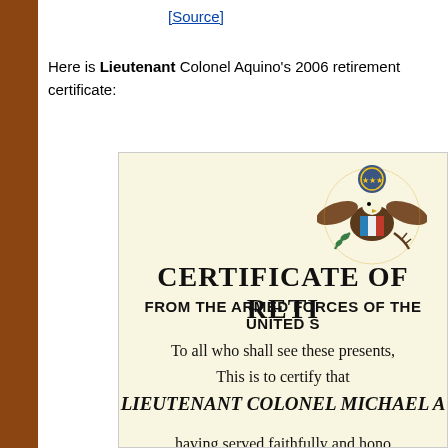[Source]
Here is Lieutenant Colonel Aquino's 2006 retirement certificate:
[Figure (other): Certificate of Retirement from the Armed Forces of the United States for Lieutenant Colonel Michael A., featuring the US Great Seal, formal certificate text, and UNITED STATES ARMY, dated on the SIXTEENTH day.]